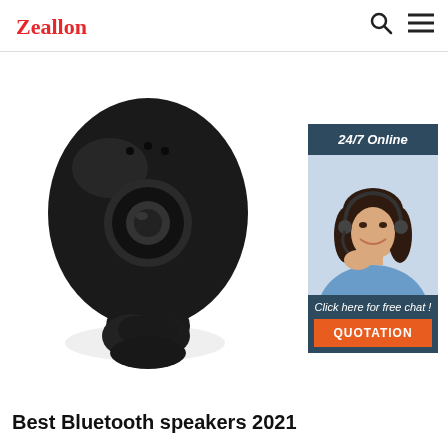Zeallon
[Figure (photo): A black wireless Bluetooth earbud (true wireless earphone) with a rounded capsule shape and circular button, shown on a white background.]
[Figure (infographic): Sidebar widget with dark blue background showing '24/7 Online' header, photo of a smiling female customer service agent wearing a headset, text 'Click here for free chat!' and an orange QUOTATION button.]
Best Bluetooth speakers 2021